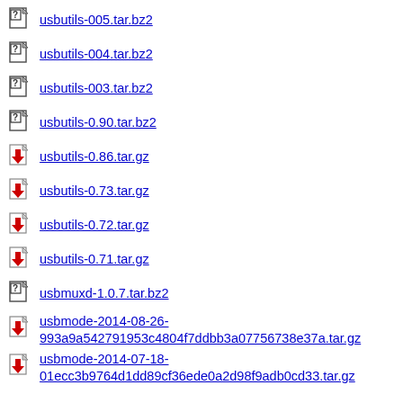usbutils-005.tar.bz2
usbutils-004.tar.bz2
usbutils-003.tar.bz2
usbutils-0.90.tar.bz2
usbutils-0.86.tar.gz
usbutils-0.73.tar.gz
usbutils-0.72.tar.gz
usbutils-0.71.tar.gz
usbmuxd-1.0.7.tar.bz2
usbmode-2014-08-26-993a9a542791953c4804f7ddbb3a07756738e37a.tar.gz
usbmode-2014-07-18-01ecc3b9764d1dd89cf36ede0a2d98f9adb0cd33.tar.gz